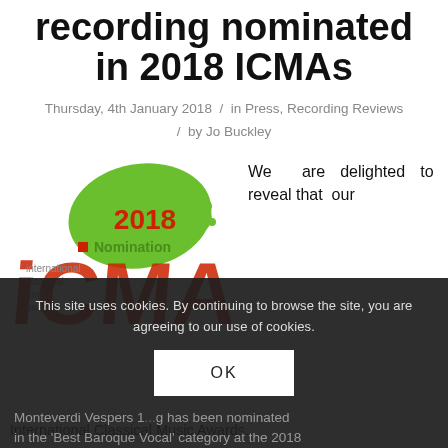recording nominated in 2018 ICMAs
Thursday, 4th January 2018 / in Press, Recording Reviews / by Jo Buckley
[Figure (logo): ICMA (International Classical Music Awards) 2018 Nomination badge/logo with green splat and red ICMA letters]
We are delighted to reveal that our
This site uses cookies. By continuing to browse the site, you are agreeing to our use of cookies.
OK
Monteverdi Vespers 1... g has been nominated in the 'Best Baroque Vocal' category at the 2018 International Classical Music Awards.